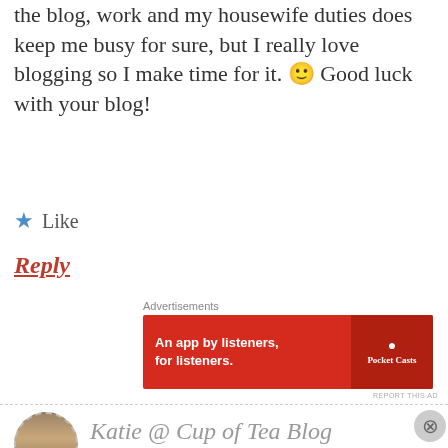the blog, work and my housewife duties does keep me busy for sure, but I really love blogging so I make time for it. 🙂 Good luck with your blog!
★ Like
Reply
[Figure (other): Pocket Casts advertisement banner: red background, text 'An app by listeners, for listeners.' with phone image and Pocket Casts logo]
[Figure (other): Bloomingdale's advertisement: 'View Today's Top Deals!' with woman in hat and SHOP NOW button]
Katie @ Cup of Tea Blog